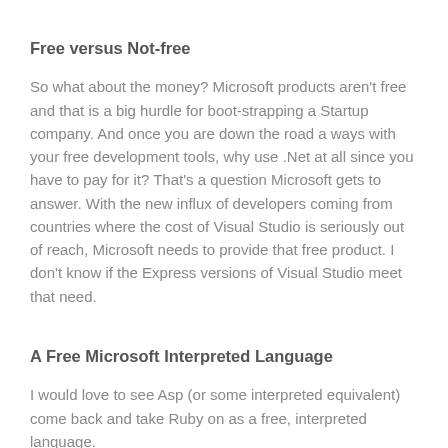Free versus Not-free
So what about the money? Microsoft products aren't free and that is a big hurdle for boot-strapping a Startup company. And once you are down the road a ways with your free development tools, why use .Net at all since you have to pay for it? That's a question Microsoft gets to answer. With the new influx of developers coming from countries where the cost of Visual Studio is seriously out of reach, Microsoft needs to provide that free product. I don't know if the Express versions of Visual Studio meet that need.
A Free Microsoft Interpreted Language
I would love to see Asp (or some interpreted equivalent) come back and take Ruby on as a free, interpreted language.